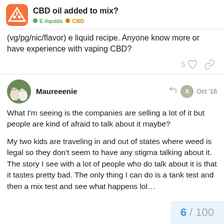CBD oil added to mix? | E-liquids | CBD
(vg/pg/nic/flavor) e liquid recipe. Anyone know more or have experience with vaping CBD?
5 likes
Maureeenie — Oct '16
What I'm seeing is the companies are selling a lot of it but people are kind of afraid to talk about it maybe?
My two kids are traveling in and out of states where weed is legal so they don't seem to have any stigma talking about it. The story I see with a lot of people who do talk about it is that it tastes pretty bad. The only thing I can do is a tank test and then a mix test and see what happens lol…
6 / 100